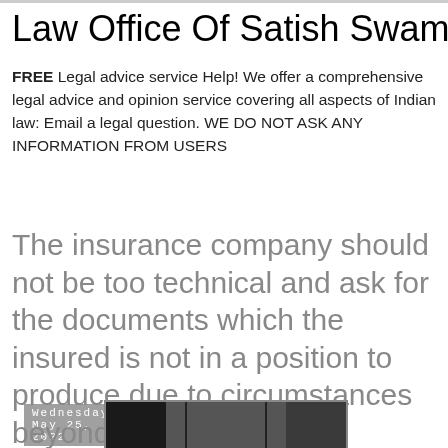Law Office Of Satish Swami
FREE Legal advice service Help! We offer a comprehensive legal advice and opinion service covering all aspects of Indian law: Email a legal question. WE DO NOT ASK ANY INFORMATION FROM USERS
Wednesday, May 25, 2022
The insurance company should not be too technical and ask for the documents which the insured is not in a position to produce due to circumstances beyond his control
[Figure (photo): Black and white photograph, partially visible at bottom of page]